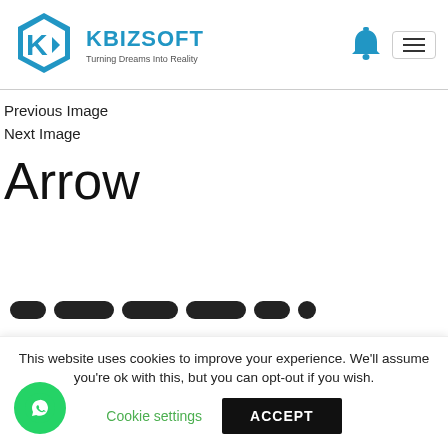[Figure (logo): Kbizsoft logo with hexagonal K icon in blue and text 'KBIZSOFT Turning Dreams Into Reality']
Previous Image
Next Image
Arrow
This website uses cookies to improve your experience. We'll assume you're ok with this, but you can opt-out if you wish.
Cookie settings
ACCEPT